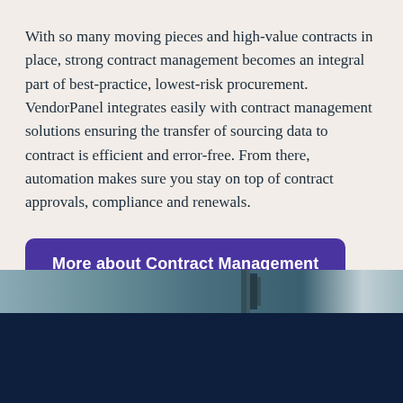With so many moving pieces and high-value contracts in place, strong contract management becomes an integral part of best-practice, lowest-risk procurement. VendorPanel integrates easily with contract management solutions ensuring the transfer of sourcing data to contract is efficient and error-free. From there, automation makes sure you stay on top of contract approvals, compliance and renewals.
[Figure (other): Button labeled 'More about Contract Management' with purple rounded rectangle background]
[Figure (photo): Partial photo at bottom of page showing a dark navy blue background with a faint image strip at the top]